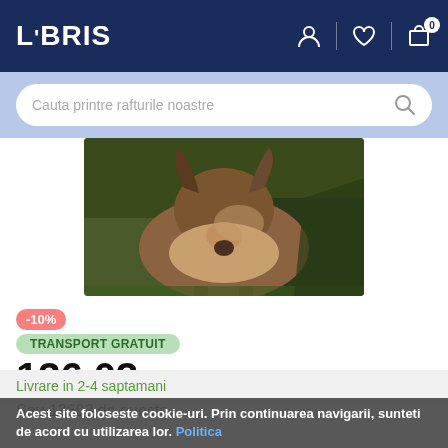LIBRIS
Cauta printre rafturile noastre
[Figure (photo): Close-up photo of an animal (appears to be a young deer or similar animal) bending down, showing fur and body details against a natural background.]
-10%
TRANSPORT GRATUIT
136.03 Lei  151.14 Lei
Sau 13603 de puncte
Livrare in 2-4 saptamani
Acest site foloseste cookie-uri. Prin continuarea navigarii, sunteti de acord cu utilizarea lor. Politica